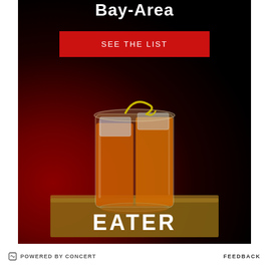Bay-Area
SEE THE LIST
[Figure (photo): Cocktail glass with amber liquid and citrus peel garnish on a dark red and black background]
EATER
POWERED BY CONCERT   FEEDBACK